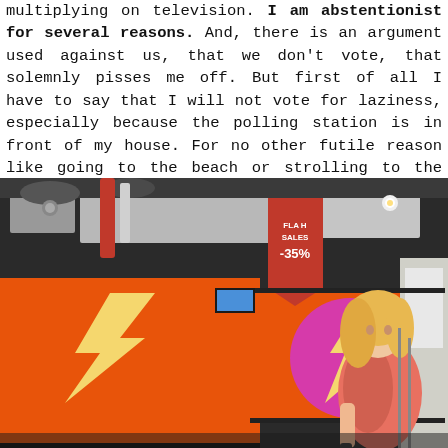multiplying on television. I am abstentionist for several reasons. And, there is an argument used against us, that we don't vote, that solemnly pisses me off. But first of all I have to say that I will not vote for laziness, especially because the polling station is in front of my house. For no other futile reason like going to the beach or strolling to the mall, okay??
[Figure (photo): Interior of an electronics store with large flat-screen TVs displayed showing lightning bolt graphics on orange and magenta backgrounds. A FLASH SALES -35% sign hangs from the ceiling. A blonde woman in a pink/orange dress stands near the TVs. The ceiling has exposed ductwork and spotlights.]